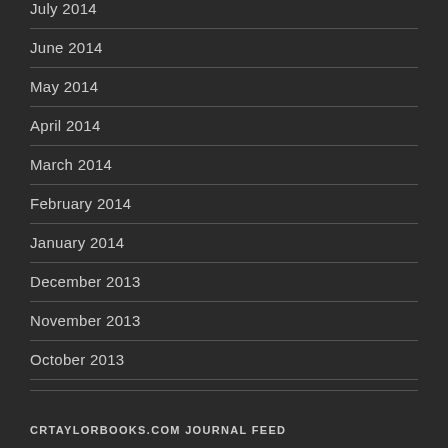July 2014
June 2014
May 2014
April 2014
March 2014
February 2014
January 2014
December 2013
November 2013
October 2013
CRTAYLORBOOKS.COM JOURNAL FEED